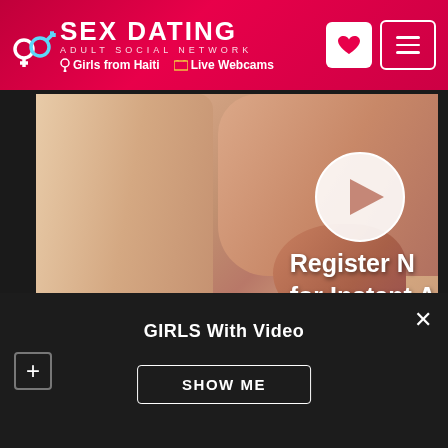SEX DATING ADULT SOCIAL NETWORK | Girls from Haiti | Live Webcams
[Figure (screenshot): Video player showing close-up of legs with a play button overlay and text 'Register NO for Instant Ac' partially visible, with video controls bar at bottom]
GIRLS With Video
SHOW ME